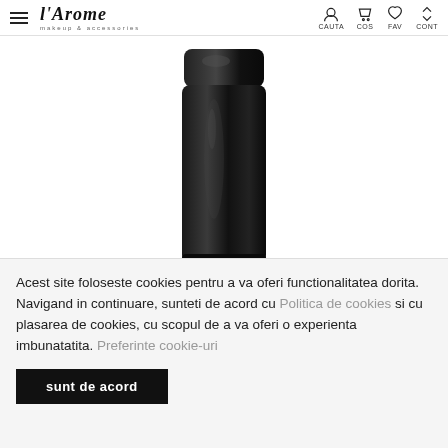l'Arome makeup & accessories — CAUTA COS FAV CONT
[Figure (photo): Large black cylindrical cosmetic product bottle on white background]
[Figure (photo): Row of product thumbnail images: two small stick product photos, a woman's face, a Revlon color swatch card, and a hand with product]
Acest site foloseste cookies pentru a va oferi functionalitatea dorita. Navigand in continuare, sunteti de acord cu Politica de cookies si cu plasarea de cookies, cu scopul de a va oferi o experienta imbunatatita. Preferinte cookie-uri
sunt de acord